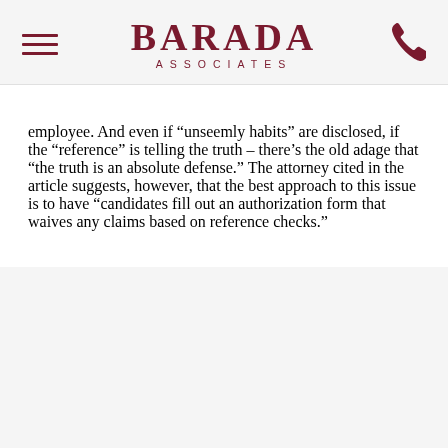BARADA ASSOCIATES
employee.  And even if “unseemly habits” are disclosed, if the “reference” is telling the truth – there’s the old adage that “the truth is an absolute defense.”  The attorney cited in the article suggests, however, that the best approach to this issue is to have “candidates fill out an authorization form that waives any claims based on reference checks.”